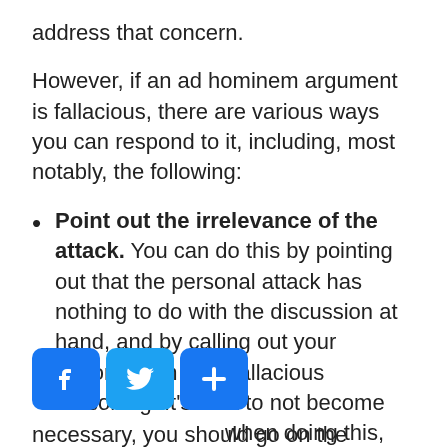address that concern.
However, if an ad hominem argument is fallacious, there are various ways you can respond to it, including, most notably, the following:
Point out the irrelevance of the attack. You can do this by pointing out that the personal attack has nothing to do with the discussion at hand, and by calling out your opponent on their fallacious reasoning. It's best to not become emotional when doing this, and if necessary, you should go on the offense